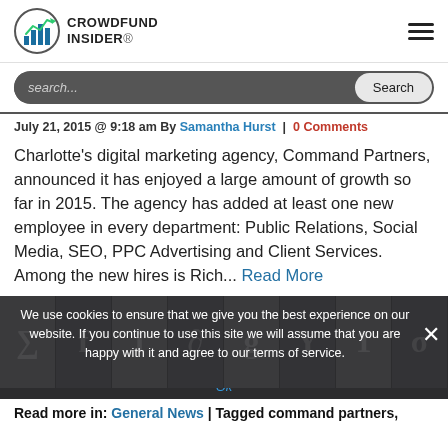CROWDFUND INSIDER
July 21, 2015 @ 9:18 am By Samantha Hurst | 0 Comments
Charlotte's digital marketing agency, Command Partners, announced it has enjoyed a large amount of growth so far in 2015. The agency has added at least one new employee in every department: Public Relations, Social Media, SEO, PPC Advertising and Client Services. Among the new hires is Rich... Read More
We use cookies to ensure that we give you the best experience on our website. If you continue to use this site we will assume that you are happy with it and agree to our terms of service.
Ok
Read more in: General News | Tagged command partners,